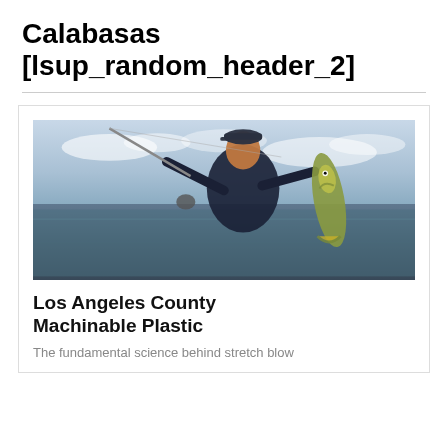Calabasas [lsup_random_header_2]
[Figure (photo): A person standing on a boat holding a fishing rod in one hand and a large walleye fish in the other. The background shows open water and a cloudy sky.]
Los Angeles County Machinable Plastic
The fundamental science behind stretch blow